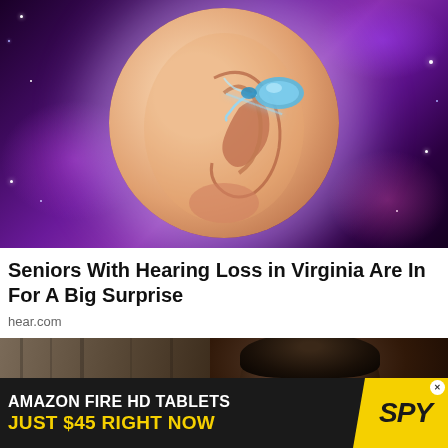[Figure (illustration): Close-up illustration of a human ear against a purple galaxy/nebula background, with a blue hearing aid device visible in the ear canal. The ear is shown inside a glowing circular frame.]
Seniors With Hearing Loss in Virginia Are In For A Big Surprise
hear.com
[Figure (photo): Partial photo of a young man's head and shoulders in dark lighting, with a wooden surface visible on the left side. A white X close button is partially visible on the right.]
[Figure (screenshot): Advertisement banner: AMAZON FIRE HD TABLETS JUST $45 RIGHT NOW with SPY logo on yellow background]